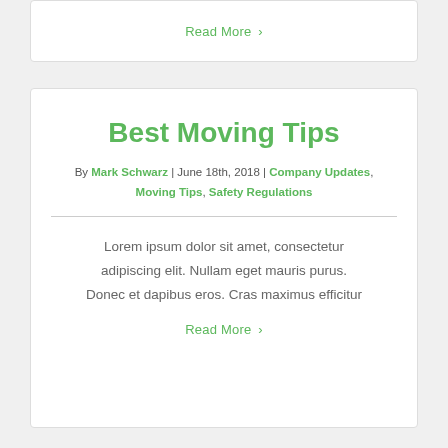Read More >
Best Moving Tips
By Mark Schwarz | June 18th, 2018 | Company Updates, Moving Tips, Safety Regulations
Lorem ipsum dolor sit amet, consectetur adipiscing elit. Nullam eget mauris purus. Donec et dapibus eros. Cras maximus efficitur
Read More >